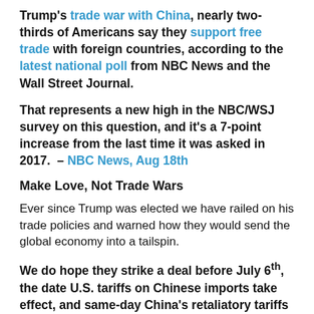Trump's trade war with China, nearly two-thirds of Americans say they support free trade with foreign countries, according to the latest national poll from NBC News and the Wall Street Journal.
That represents a new high in the NBC/WSJ survey on this question, and it's a 7-point increase from the last time it was asked in 2017. – NBC News, Aug 18th
Make Love, Not Trade Wars
Ever since Trump was elected we have railed on his trade policies and warned how they would send the global economy into a tailspin.
We do hope they strike a deal before July 6th, the date U.S. tariffs on Chinese imports take effect, and same-day China's retaliatory tariffs are expected to launch.